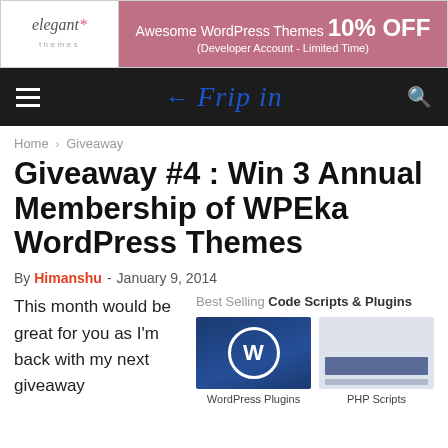[Figure (other): Elegant Themes banner ad: white left section with 'elegant themes' logo and pink/mauve right section with text 'Awesome WordPress Themes 10% OFF (Developer Account - Limited Time)']
[Figure (other): Fripin website navigation bar with hamburger menu, Fripin logo in blue italic script, and search icon on dark background]
Home › Giveaway
Giveaway #4 : Win 3 Annual Membership of WPEka WordPress Themes
By Himanshu - January 9, 2014
This month would be great for you as I'm back with my next giveaway
[Figure (other): Best Selling Code Scripts & Plugins sidebar with WordPress Plugins thumbnail image (dark blue with WordPress logo) and PHP Scripts thumbnail]
WordPress Plugins
PHP Scripts